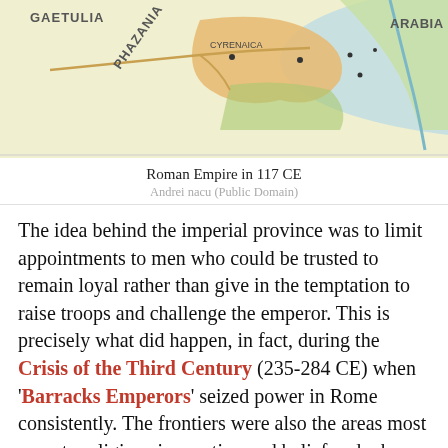[Figure (map): Partial map of the Roman Empire showing regions including Gaetulia, Phazania, Arabia, Cyrenaica, and surrounding areas with colored territorial boundaries.]
Roman Empire in 117 CE
Andrei nacu (Public Domain)
The idea behind the imperial province was to limit appointments to men who could be trusted to remain loyal rather than give in the temptation to raise troops and challenge the emperor. This is precisely what did happen, in fact, during the Crisis of the Third Century (235-284 CE) when 'Barracks Emperors' seized power in Rome consistently. The frontiers were also the areas most open to religious innovation and belief and where most of the sects which flourished in the 1st century CE found their earliest adherents. The state religion of Rome was a part of one's home